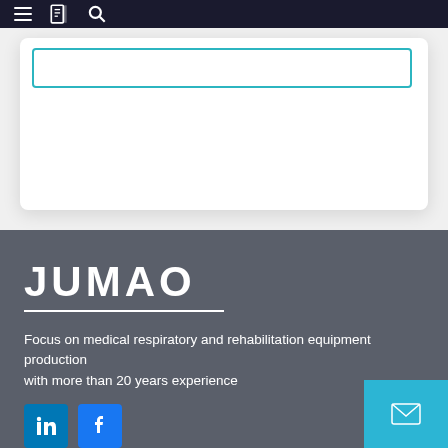Navigation bar with menu, bookmark, and search icons
[Figure (screenshot): White card area with a cyan-bordered search/input box at the top]
JUMAO
Focus on medical respiratory and rehabilitation equipment production with more than 20 years experience
[Figure (logo): LinkedIn and Facebook social media icons at bottom left, and a cyan mail button at bottom right]